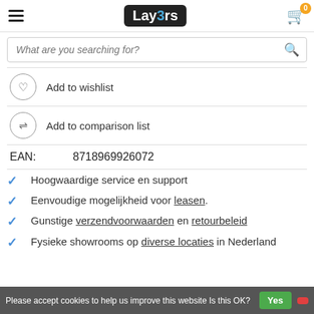Lay3rs logo, hamburger menu, cart with 0 items
What are you searching for?
Add to wishlist
Add to comparison list
EAN: 8718969926072
Hoogwaardige service en support
Eenvoudige mogelijkheid voor leasen.
Gunstige verzendvoorwaarden en retourbeleid
Fysieke showrooms op diverse locaties in Nederland
Please accept cookies to help us improve this website Is this OK? Yes